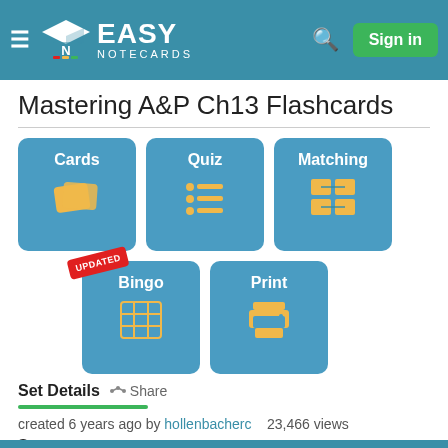[Figure (screenshot): Easy Notecards website header with logo, search icon, and Sign in button on teal background]
Mastering A&P Ch13 Flashcards
[Figure (infographic): Navigation button grid with Cards, Quiz, Matching, Bingo (updated), and Print buttons in blue tiles with gold icons]
Set Details
created 6 years ago by hollenbacherc   23,466 views
Senses
show more